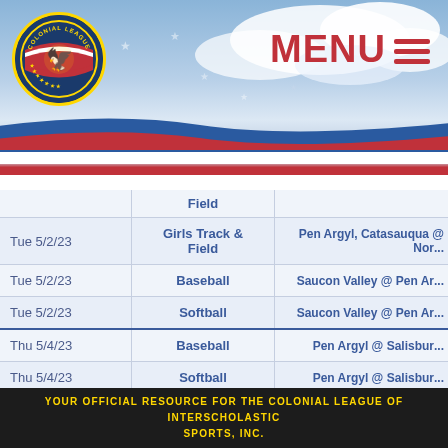[Figure (logo): Colonial League logo with circular emblem featuring American flag motif]
MENU
| Date | Sport | Matchup |
| --- | --- | --- |
|  | Field |  |
| Tue 5/2/23 | Girls Track & Field | Pen Argyl, Catasauqua @ Nor... |
| Tue 5/2/23 | Baseball | Saucon Valley @ Pen Ar... |
| Tue 5/2/23 | Softball | Saucon Valley @ Pen Ar... |
| Thu 5/4/23 | Baseball | Pen Argyl @ Salisbur... |
| Thu 5/4/23 | Softball | Pen Argyl @ Salisbur... |
| Mon 5/8/23 | Baseball | Pen Argyl @ Bangor... |
| Mon 5/8/23 | Softball | Pen Argyl @ Bangor... |
YOUR OFFICIAL RESOURCE FOR THE COLONIAL LEAGUE OF INTERSCHOLASTIC SPORTS, INC.